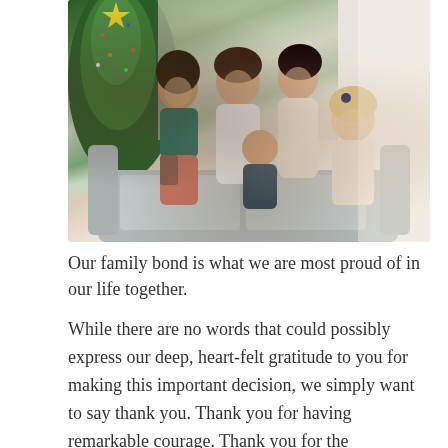[Figure (photo): A family of five sitting together on a sofa near a Christmas tree. Two parents and three daughters are laughing and playing together. The older daughter wears a red bow and teal top with plaid skirt. The two younger children are in dark velvet and floral dresses.]
Our family bond is what we are most proud of in our life together.
While there are no words that could possibly express our deep, heart-felt gratitude to you for making this important decision, we simply want to say thank you. Thank you for having remarkable courage. Thank you for the opportunity to help us to grow our family, for loving your child, for your gift of life, love, selflessness, conviction, trust and for all the things that you do that leaves us as adoptive parents in awe. For all these